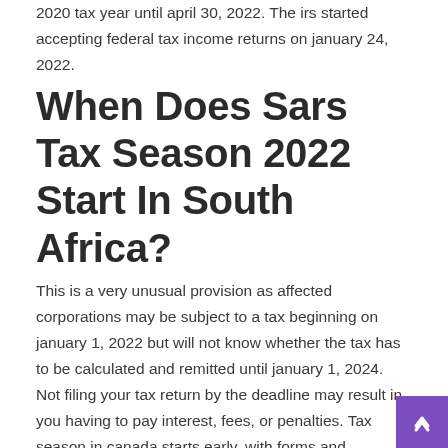2020 tax year until april 30, 2022. The irs started accepting federal tax income returns on january 24, 2022.
When Does Sars Tax Season 2022 Start In South Africa?
This is a very unusual provision as affected corporations may be subject to a tax beginning on january 1, 2022 but will not know whether the tax has to be calculated and remitted until january 1, 2024. Not filing your tax return by the deadline may result in you having to pay interest, fees, or penalties. Tax season in canada starts early, with forms and